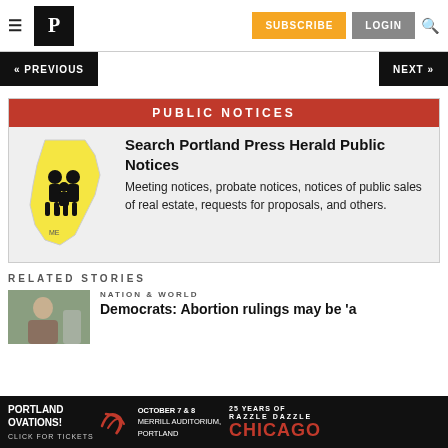Portland Press Herald — SUBSCRIBE LOGIN
« PREVIOUS   NEXT »
PUBLIC NOTICES
Search Portland Press Herald Public Notices
Meeting notices, probate notices, notices of public sales of real estate, requests for proposals, and others.
RELATED STORIES
NATION & WORLD
Democrats: Abortion rulings may be 'a
PORTLAND OVATIONS! CLICK FOR TICKETS OCTOBER 7 & 8 MERRILL AUDITORIUM, PORTLAND 25 YEARS OF RAZZLE DAZZLE CHICAGO